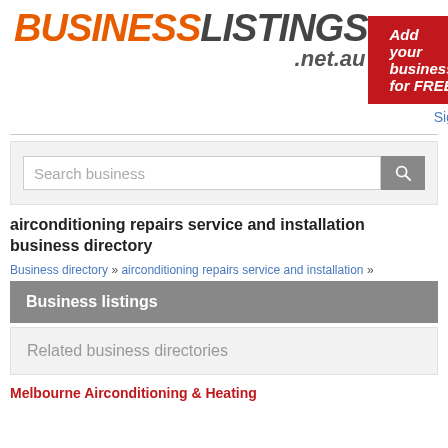[Figure (logo): BusinessListings.net.au logo with BUSINESS in orange italic bold and LISTINGS in dark gray italic bold, with .net.au below]
Add your business for FREE
Sign in
Search business
airconditioning repairs service and installation business directory
Business directory » airconditioning repairs service and installation »
Business listings
Related business directories
Melbourne Airconditioning & Heating